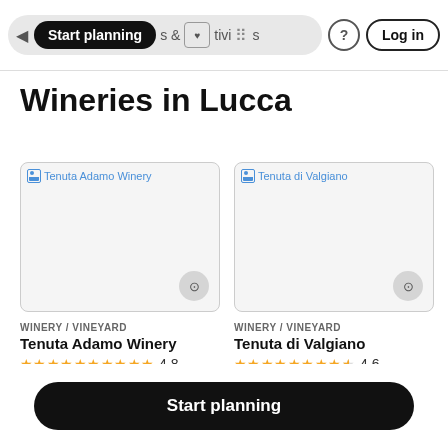Start planning | & Activities | ? | Log in
Wineries in Lucca
[Figure (screenshot): Card for Tenuta Adamo Winery with broken image placeholder]
WINERY / VINEYARD
Tenuta Adamo Winery
★★★★★ 4.8
Duration: 1h 30 min
[Figure (screenshot): Card for Tenuta di Valgiano with broken image placeholder]
WINERY / VINEYARD
Tenuta di Valgiano
★★★★½ 4.6
Duration: 1h 30 min
Start planning